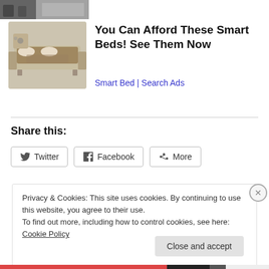[Figure (photo): Partial image of two people's legs/feet at top of page]
[Figure (photo): Smart bed product image showing a large modern bed with integrated features and storage]
You Can Afford These Smart Beds! See Them Now
Smart Bed | Search Ads
Share this:
Twitter
Facebook
More
Privacy & Cookies: This site uses cookies. By continuing to use this website, you agree to their use.
To find out more, including how to control cookies, see here: Cookie Policy
Close and accept